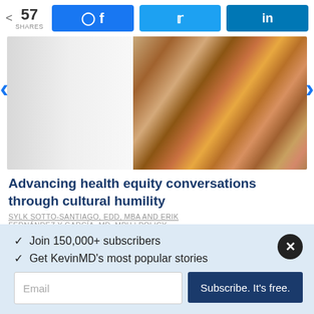57 SHARES
[Figure (screenshot): Social share buttons: Facebook (blue), Twitter (light blue), LinkedIn (blue)]
[Figure (photo): Abstract image of diverse human face silhouettes in various skin tones made of textured material, fading from grey-white on left to warm earth tones on right]
Advancing health equity conversations through cultural humility
SYLK SOTTO-SANTIAGO, EDD, MBA AND ERIK FERNÁNDEZ Y GARCÍA, MD, MPH | POLICY
✓  Join 150,000+ subscribers
✓  Get KevinMD's most popular stories
Email
Subscribe. It's free.